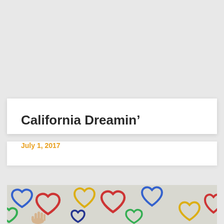California Dreamin’
July 1, 2017
[Figure (photo): A white wall covered with colorful graffiti hearts in blue, red, yellow, and green. A child's hand is visible pressing against the lower left portion of the wall.]